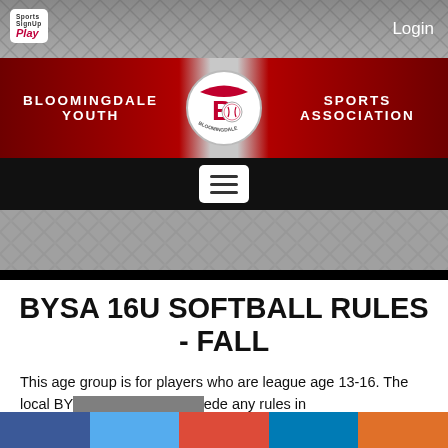[Figure (screenshot): Sports SignUp Play logo in white box, top left of navigation bar]
Login
[Figure (illustration): Bloomingdale Youth Sports Association banner with red background, circular logo in center, text on both sides]
[Figure (screenshot): Hamburger menu button (three horizontal lines) on black navigation bar]
BYSA 16U SOFTBALL RULES - FALL
This age group is for players who are league age 13-16. The local BY... ...ede any rules in the... ...k, which should be r... ...ios